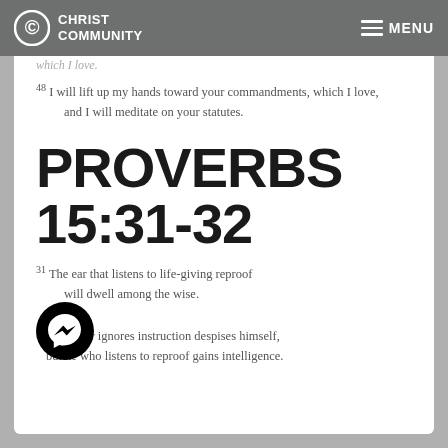Christ Community — MENU
which I love.
48 I will lift up my hands toward your commandments, which I love, and I will meditate on your statutes.
PROVERBS 15:31-32
31 The ear that listens to life-giving reproof will dwell among the wise. 32 Whoever ignores instruction despises himself, but he who listens to reproof gains intelligence.
[Figure (logo): Facebook Messenger chat button icon]